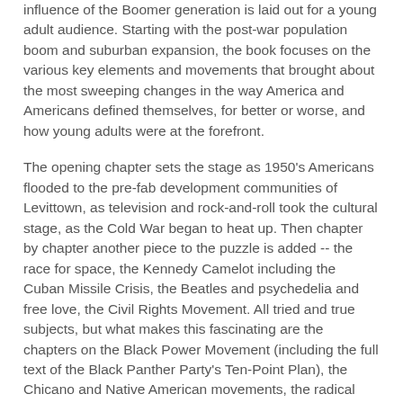influence of the Boomer generation is laid out for a young adult audience. Starting with the post-war population boom and suburban expansion, the book focuses on the various key elements and movements that brought about the most sweeping changes in the way America and Americans defined themselves, for better or worse, and how young adults were at the forefront.
The opening chapter sets the stage as 1950's Americans flooded to the pre-fab development communities of Levittown, as television and rock-and-roll took the cultural stage, as the Cold War began to heat up. Then chapter by chapter another piece to the puzzle is added -- the race for space, the Kennedy Camelot including the Cuban Missile Crisis, the Beatles and psychedelia and free love, the Civil Rights Movement. All tried and true subjects, but what makes this fascinating are the chapters on the Black Power Movement (including the full text of the Black Panther Party's Ten-Point Plan), the Chicano and Native American movements, the radical anti-war protests (not just Kent State but the Weathermen), the feminists and, as the boomers